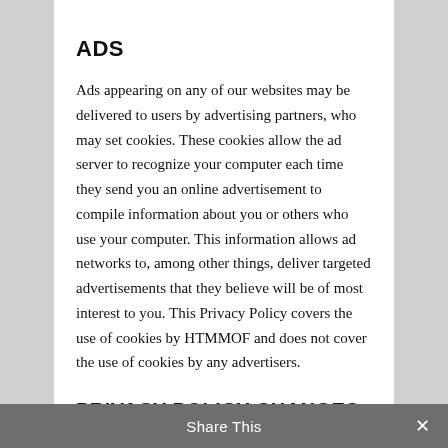ADS
Ads appearing on any of our websites may be delivered to users by advertising partners, who may set cookies. These cookies allow the ad server to recognize your computer each time they send you an online advertisement to compile information about you or others who use your computer. This information allows ad networks to, among other things, deliver targeted advertisements that they believe will be of most interest to you. This Privacy Policy covers the use of cookies by HTMMOF and does not cover the use of cookies by any advertisers.
PRIVACY POLICY CHANGES
Although most changes are likely to be minor, HTMMOF may change its Privacy Policy from